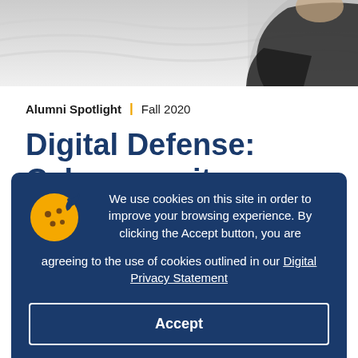[Figure (photo): Partial photo of a person in a dark shirt against a white wavy textured background, shown from shoulders up, cropped at top of page]
Alumni Spotlight | Fall 2020
Digital Defense: Cybersecurity activist
We use cookies on this site in order to improve your browsing experience. By clicking the Accept button, you are agreeing to the use of cookies outlined in our Digital Privacy Statement
Accept